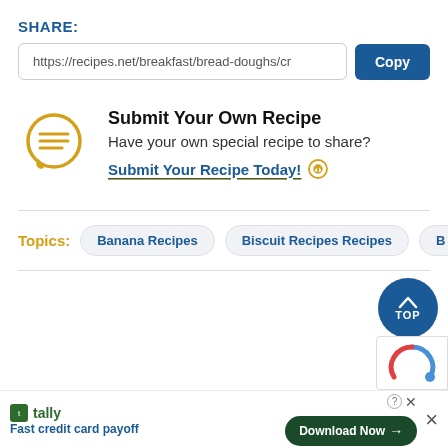SHARE:
https://recipes.net/breakfast/bread-doughs/cr
Copy
[Figure (illustration): Chat bubble icon with lines inside, in yellow/gold color]
Submit Your Own Recipe
Have your own special recipe to share?
Submit Your Recipe Today!
Topics: Banana Recipes  Biscuit Recipes Recipes  B...
[Figure (illustration): Dark blue circular TOP button with upward arrow]
[Figure (logo): Tally logo and Fast credit card payoff ad with Download Now button]